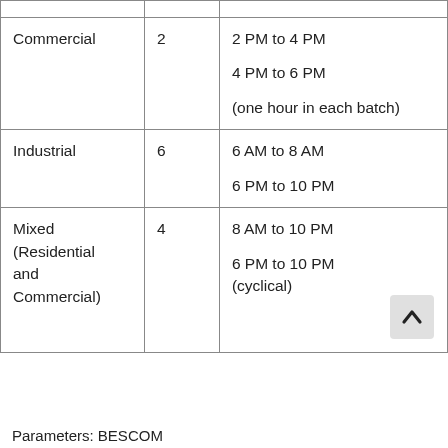| Commercial | 2 | 2 PM to 4 PM
4 PM to 6 PM
(one hour in each batch) |
| Industrial | 6 | 6 AM to 8 AM
6 PM to 10 PM |
| Mixed (Residential and Commercial) | 4 | 8 AM to 10 PM
6 PM to 10 PM (cyclical) |
Parameters: BESCOM